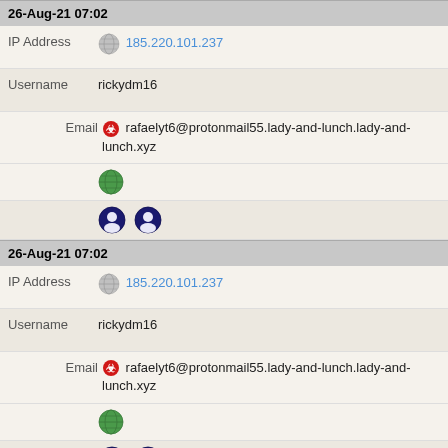26-Aug-21 07:02
IP Address  185.220.101.237
Username  rickydm16
Email  rafaelyt6@protonmail55.lady-and-lunch.lady-and-lunch.xyz
[Figure (illustration): Globe icon and two circular badges]
26-Aug-21 07:02
IP Address  185.220.101.237
Username  rickydm16
Email  rafaelyt6@protonmail55.lady-and-lunch.lady-and-lunch.xyz
[Figure (illustration): Globe icon and two circular badges]
26-Aug-21 07:02
IP Address  185.220.101.237
Username  rickydm16
Email  rafaelyt6@protonmail55.lady-and-lunch.lady-and-